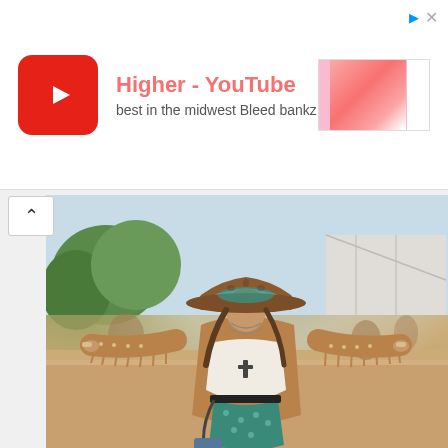[Figure (screenshot): YouTube advertisement banner showing red YouTube play button logo, title 'Higher - YouTube', subtitle 'best in the midwest Bleed bankz', and a pink thumbnail preview on the right. Top-right has navigation arrow icons in blue.]
[Figure (photo): Festival photo of a woman wearing a brown fringed suede jacket with studded details, white lace crop top, teal patterned shorts, black belt, layered necklaces including a cross pendant, and a brown leopard-print cowboy hat with teal goggles. She has arms spread wide, standing on sandy ground at an outdoor music festival with trees and a white tent structure in the background. She carries a denim crossbody bag.]